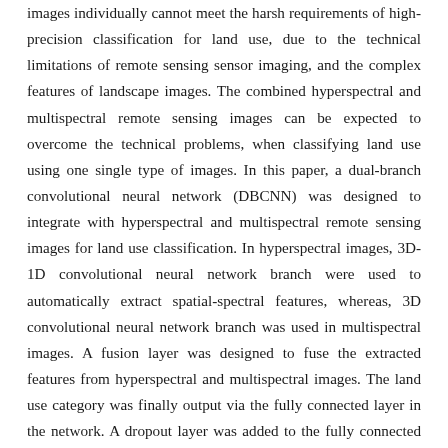images individually cannot meet the harsh requirements of high-precision classification for land use, due to the technical limitations of remote sensing sensor imaging, and the complex features of landscape images. The combined hyperspectral and multispectral remote sensing images can be expected to overcome the technical problems, when classifying land use using one single type of images. In this paper, a dual-branch convolutional neural network (DBCNN) was designed to integrate with hyperspectral and multispectral remote sensing images for land use classification. In hyperspectral images, 3D-1D convolutional neural network branch were used to automatically extract spatial-spectral features, whereas, 3D convolutional neural network branch was used in multispectral images. A fusion layer was designed to fuse the extracted features from hyperspectral and multispectral images. The land use category was finally output via the fully connected layer in the network. A dropout layer was added to the fully connected layer in the network, in order to avoid overfitting of imaging data. Image data sets were taken from two research areas in this study. One research area was in the rural and urban border area at Chikusei, Ibaraki, Japan, indicating mainly farm land in the whole regions. The hyperspectral and multispectral images